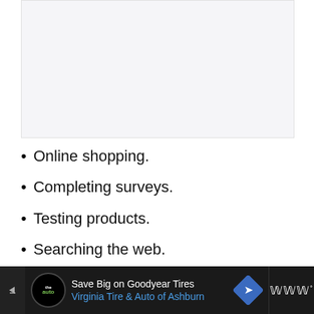[Figure (other): Large light gray rectangular placeholder image area at the top of the page]
Online shopping.
Completing surveys.
Testing products.
Searching the web.
Playing games.
Save Big on Goodyear Tires Virginia Tire & Auto of Ashburn